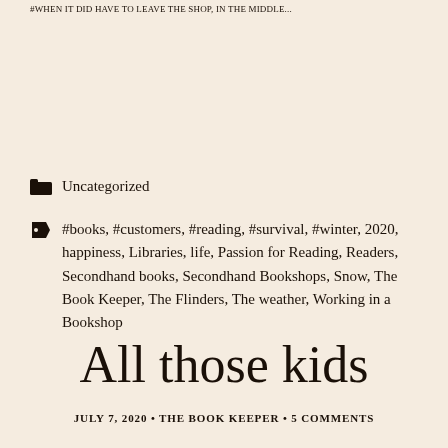#WHEN IT DID HAVE TO LEAVE THE SHOP, IN THE MIDDLE...
Uncategorized
#books, #customers, #reading, #survival, #winter, 2020, happiness, Libraries, life, Passion for Reading, Readers, Secondhand books, Secondhand Bookshops, Snow, The Book Keeper, The Flinders, The weather, Working in a Bookshop
All those kids
JULY 7, 2020 • THE BOOK KEEPER • 5 COMMENTS